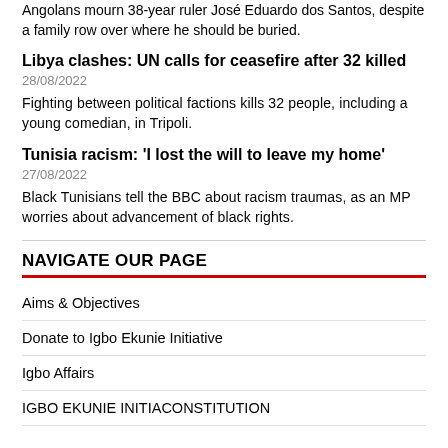Angolans mourn 38-year ruler José Eduardo dos Santos, despite a family row over where he should be buried.
Libya clashes: UN calls for ceasefire after 32 killed
28/08/2022
Fighting between political factions kills 32 people, including a young comedian, in Tripoli.
Tunisia racism: 'I lost the will to leave my home'
27/08/2022
Black Tunisians tell the BBC about racism traumas, as an MP worries about advancement of black rights.
NAVIGATE OUR PAGE
Aims & Objectives
Donate to Igbo Ekunie Initiative
Igbo Affairs
IGBO EKUNIE INITIACONSTITUTION